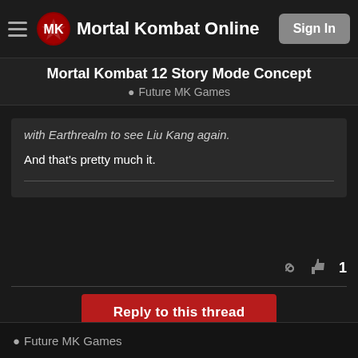Mortal Kombat Online | Sign In
Mortal Kombat 12 Story Mode Concept
Future MK Games
with Earthrealm to see Liu Kang again.
And that's pretty much it.
Reply to this thread
1
Future MK Games